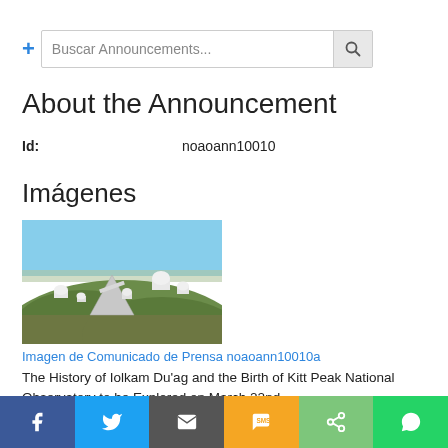Buscar Announcements...
About the Announcement
Id:    noaoann10010
Imágenes
[Figure (photo): Aerial view of Kitt Peak National Observatory on a hill with multiple telescope domes visible against a clear blue sky, surrounded by green desert vegetation.]
Imagen de Comunicado de Prensa noaoann10010a
The History of Iolkam Du'ag and the Birth of Kitt Peak National Observatory to be Explored on March 22nd